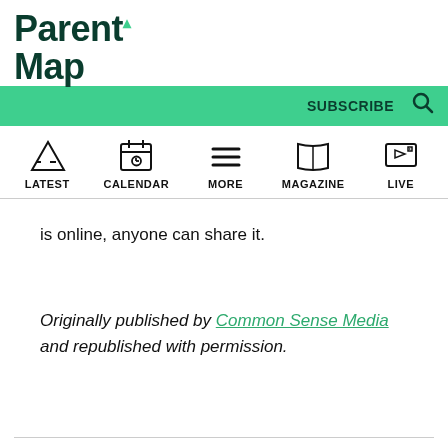ParentMap
is online, anyone can share it.
Originally published by Common Sense Media and republished with permission.